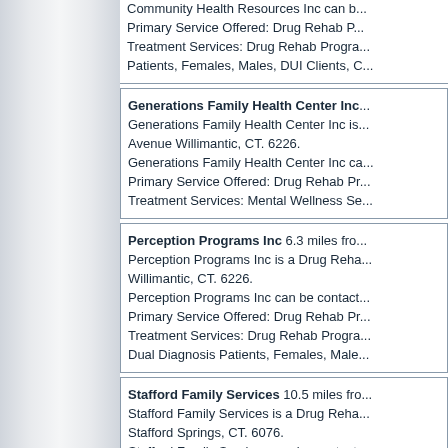Community Health Resources Inc can b... Primary Service Offered: Drug Rehab P... Treatment Services: Drug Rehab Progra... Patients, Females, Males, DUI Clients, C...
Generations Family Health Center Inc is... Avenue Willimantic, CT. 6226. Generations Family Health Center Inc ca... Primary Service Offered: Drug Rehab Pr... Treatment Services: Mental Wellness Se...
Perception Programs Inc 6.3 miles fro... Perception Programs Inc is a Drug Reha... Willimantic, CT. 6226. Perception Programs Inc can be contact... Primary Service Offered: Drug Rehab Pr... Treatment Services: Drug Rehab Progra... Dual Diagnosis Patients, Females, Male...
Stafford Family Services 10.5 miles fr... Stafford Family Services is a Drug Reha... Stafford Springs, CT. 6076. Stafford Family Services can be contact... Primary Service Offered: Drug Rehabilit... Treatment Services: Mental Wellness Se...
RiverEast Day Hospital and 12 miles fr... RiverEast Day Hospital and is a Drug Re... Rockville, CT. 6066.